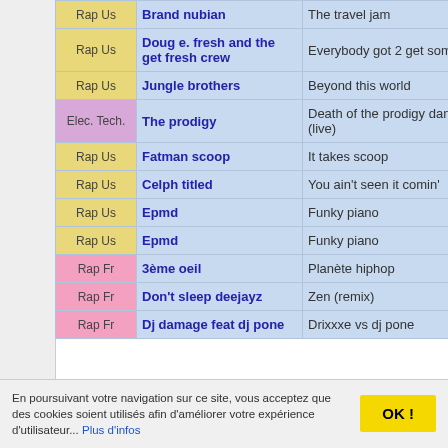| Genre | Artist | Track |
| --- | --- | --- |
| Rap Us | Brand nubian | The travel jam |
| Rap Us | Doug e. fresh and the get fresh crew | Everybody got 2 get som |
| Rap Us | Jungle brothers | Beyond this world |
| Elec. Tech. | The prodigy | Death of the prodigy dancers (live) |
| Rap Us | Fatman scoop | It takes scoop |
| Rap Us | Celph titled | You ain't seen it comin' |
| Rap Us | Epmd | Funky piano |
| Rap Us | Epmd | Funky piano |
| Rap Fr | 3ème oeil | Planète hiphop |
| Rap Fr | Don't sleep deejayz | Zen (remix) |
| Rap Fr | Dj damage feat dj pone | Drixxxe vs dj pone |
En poursuivant votre navigation sur ce site, vous acceptez que des cookies soient utilisés afin d'améliorer votre expérience d'utilisateur... Plus d'infos